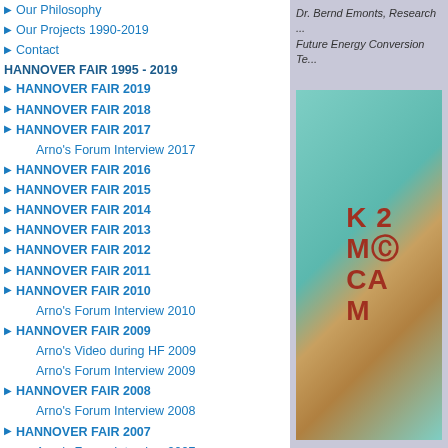Our Philosophy
Our Projects 1990-2019
Contact
HANNOVER FAIR 1995 - 2019
HANNOVER FAIR 2019
HANNOVER FAIR 2018
HANNOVER FAIR 2017
Arno's Forum Interview 2017
HANNOVER FAIR 2016
HANNOVER FAIR 2015
HANNOVER FAIR 2014
HANNOVER FAIR 2013
HANNOVER FAIR 2012
HANNOVER FAIR 2011
HANNOVER FAIR 2010
Arno's Forum Interview 2010
HANNOVER FAIR 2009
Arno's Video during HF 2009
Arno's Forum Interview 2009
HANNOVER FAIR 2008
Arno's Forum Interview 2008
HANNOVER FAIR 2007
Arno's Forum Interview 2007
HANNOVER FAIR 2006
Daily Networking evenings
HANNOVER FAIR 2005
Daily Networking evenings
International Commercial Visitors 2005
HANNOVER FAIR 2004
International Commercial Visitors 2004
Dr. Bernd Emonts, Research ... Future Energy Conversion Te...
[Figure (photo): Photo of a presentation display showing letters K, M, C, A in large red text on a teal/brown background]